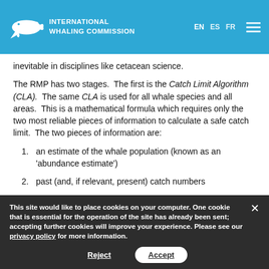INTERNATIONAL WHALING COMMISSION
inevitable in disciplines like cetacean science.
The RMP has two stages.  The first is the Catch Limit Algorithm (CLA).  The same CLA is used for all whale species and all areas.  This is a mathematical formula which requires only the two most reliable pieces of information to calculate a safe catch limit.  The two pieces of information are:
an estimate of the whale population (known as an 'abundance estimate')
past (and, if relevant, present) catch numbers
This site would like to place cookies on your computer. One cookie that is essential for the operation of the site has already been sent; accepting further cookies will improve your experience. Please see our privacy policy for more information.